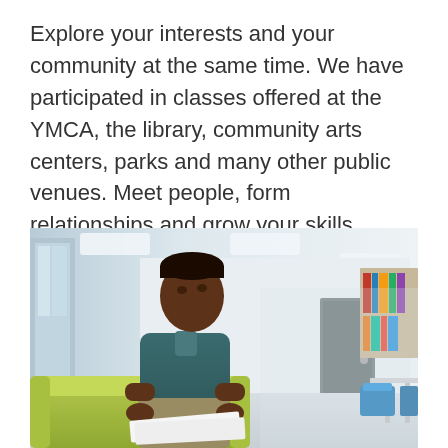Explore your interests and your community at the same time. We have participated in classes offered at the YMCA, the library, community arts centers, parks and many other public venues. Meet people, form relationships and grow your skills.
[Figure (photo): A young Black man sitting on a yellow-green couch in a bright library or community center, looking upward thoughtfully, with papers on his lap. The background shows bookshelves, blue chairs, and overhead lighting.]